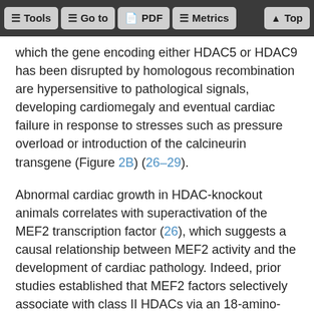Tools  Go to  PDF  Metrics  Top
which the gene encoding either HDAC5 or HDAC9 has been disrupted by homologous recombination are hypersensitive to pathological signals, developing cardiomegaly and eventual cardiac failure in response to stresses such as pressure overload or introduction of the calcineurin transgene (Figure 2B) (26–29).
Abnormal cardiac growth in HDAC-knockout animals correlates with superactivation of the MEF2 transcription factor (26), which suggests a causal relationship between MEF2 activity and the development of cardiac pathology. Indeed, prior studies established that MEF2 factors selectively associate with class II HDACs via an 18-amino-acid motif present only in these HDACs. Class II HDACs